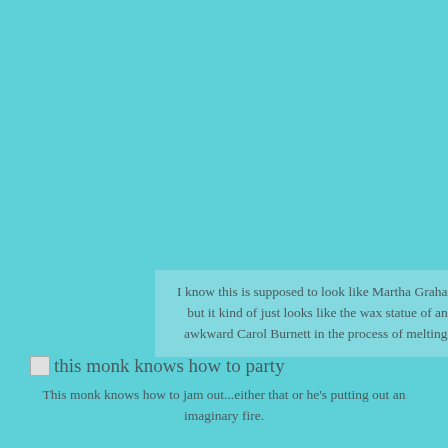I know this is supposed to look like Martha Graham but it kind of just looks like the wax statue of an awkward Carol Burnett in the process of melting.
this monk knows how to party
This monk knows how to jam out...either that or he's putting out an imaginary fire.